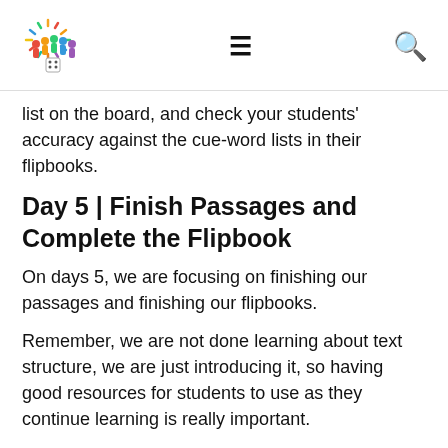[Figure (logo): Colorful educational game logo with people figures and dice, sunburst rays]
list on the board, and check your students' accuracy against the cue-word lists in their flipbooks.
Day 5 | Finish Passages and Complete the Flipbook
On days 5, we are focusing on finishing our passages and finishing our flipbooks.
Remember, we are not done learning about text structure, we are just introducing it, so having good resources for students to use as they continue learning is really important.